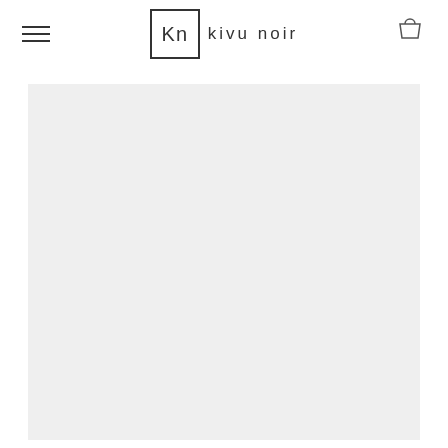Kn kivu noir
[Figure (photo): Large light gray placeholder image area below the navigation header]